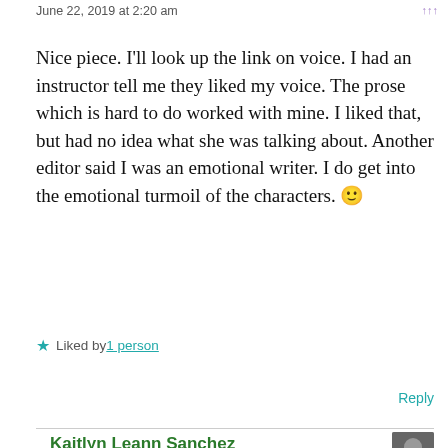June 22, 2019 at 2:20 am
Nice piece. I'll look up the link on voice. I had an instructor tell me they liked my voice. The prose which is hard to do worked with mine. I liked that, but had no idea what she was talking about. Another editor said I was an emotional writer. I do get into the emotional turmoil of the characters. 🙂
★ Liked by 1 person
Reply
Kaitlyn Leann Sanchez
June 22, 2019 at 4:56 pm
Thanks so much! I hope Jessica's post helps. And